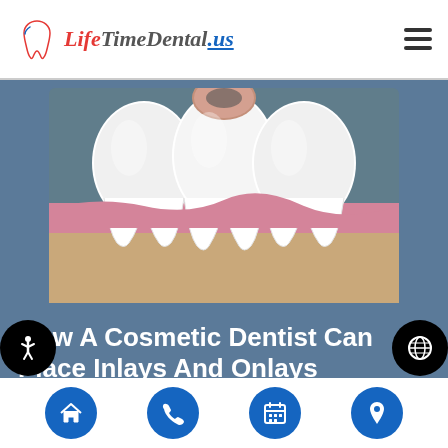LifeTimeDental.us
[Figure (illustration): Three dental teeth cross-section illustration showing two white healthy teeth flanking a center tooth with a pink/brown inlay or onlay being placed on top, set against a background showing gum tissue (pink) and bone (tan/beige).]
How A Cosmetic Dentist Can Place Inlays And Onlays
A cosmetic dentist can use inlays and onlays in
Navigation icons: home, phone, calendar, location